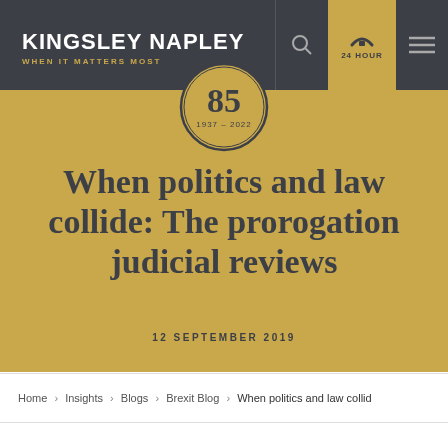KINGSLEY NAPLEY — WHEN IT MATTERS MOST
[Figure (logo): Kingsley Napley 85th anniversary badge (1937-2022), circular gold border]
When politics and law collide: The prorogation judicial reviews
12 SEPTEMBER 2019
Home › Insights › Blogs › Brexit Blog › When politics and law collid